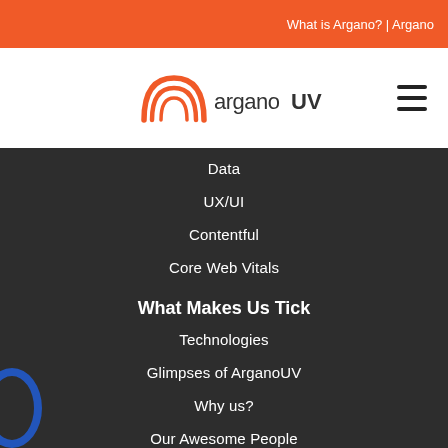What is Argano? | Argano
[Figure (logo): ArganoUV logo with orange arch/rainbow icon and 'arganoUV' wordmark]
Data
UX/UI
Contentful
Core Web Vitals
What Makes Us Tick
Technologies
Glimpses of ArganoUV
Why us?
Our Awesome People
Listening to you!